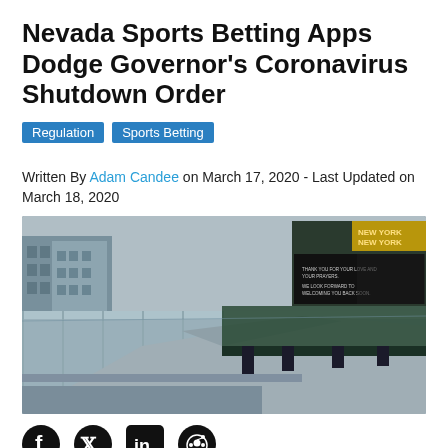Nevada Sports Betting Apps Dodge Governor's Coronavirus Shutdown Order
Regulation
Sports Betting
Written By Adam Candee on March 17, 2020 - Last Updated on March 18, 2020
[Figure (photo): Exterior view of New York New York hotel and casino in Las Vegas, appearing empty with a message on its marquee sign during the coronavirus shutdown.]
Nevada Gov. Steve Sisolak ordered a complete